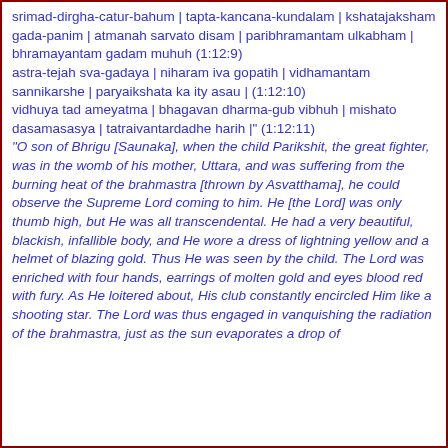srimad-dirgha-catur-bahum | tapta-kancana-kundalam | kshatajaksham gada-panim | atmanah sarvato disam | paribhramantam ulkabham | bhramayantam gadam muhuh (1:12:9)
astra-tejah sva-gadaya | niharam iva gopatih | vidhamantam sannikarshe | paryaikshata ka ity asau | (1:12:10)
vidhuya tad ameyatma | bhagavan dharma-gub vibhuh | mishato dasamasasya | tatraivantardadhe harih |" (1:12:11)
"O son of Bhrigu [Saunaka], when the child Parikshit, the great fighter, was in the womb of his mother, Uttara, and was suffering from the burning heat of the brahmastra [thrown by Asvatthama], he could observe the Supreme Lord coming to him. He [the Lord] was only thumb high, but He was all transcendental. He had a very beautiful, blackish, infallible body, and He wore a dress of lightning yellow and a helmet of blazing gold. Thus He was seen by the child. The Lord was enriched with four hands, earrings of molten gold and eyes blood red with fury. As He loitered about, His club constantly encircled Him like a shooting star. The Lord was thus engaged in vanquishing the radiation of the brahmastra, just as the sun evaporates a drop of